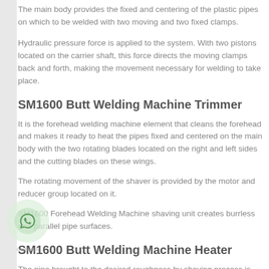The main body provides the fixed and centering of the plastic pipes on which to be welded with two moving and two fixed clamps.
Hydraulic pressure force is applied to the system. With two pistons located on the carrier shaft, this force directs the moving clamps back and forth, making the movement necessary for welding to take place.
SM1600 Butt Welding Machine Trimmer
It is the forehead welding machine element that cleans the forehead and makes it ready to heat the pipes fixed and centered on the main body with the two rotating blades located on the right and left sides and the cutting blades on these wings.
The rotating movement of the shaver is provided by the motor and reducer group located on it.
SM1600 Forehead Welding Machine shaving unit creates burrless and parallel pipe surfaces.
SM1600 Butt Welding Machine Heater
The pipe brought to the desired roughness by shaving process is the forehead welding machine element that heats the surfaces of the forehead with heating plate and